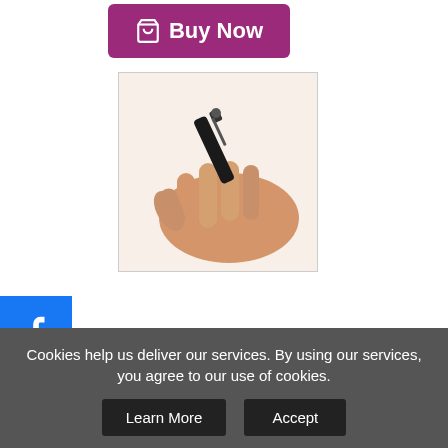[Figure (other): Purple/magenta Buy Now button with shopping cart icon]
[Figure (photo): Hand holding a small black mini flashlight/pen light]
[Figure (other): Social media sharing sidebar with Facebook, Twitter, Pinterest, Tumblr, and AddThis icons]
ortable Mini enlight Cree Q5 00l...
9.99
Buy Now
New
Cookies help us deliver our services. By using our services, you agree to our use of cookies.
Learn More
Accept